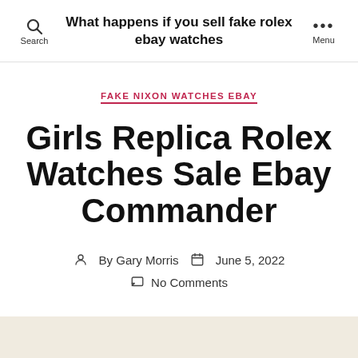What happens if you sell fake rolex ebay watches
FAKE NIXON WATCHES EBAY
Girls Replica Rolex Watches Sale Ebay Commander
By Gary Morris  June 5, 2022
No Comments